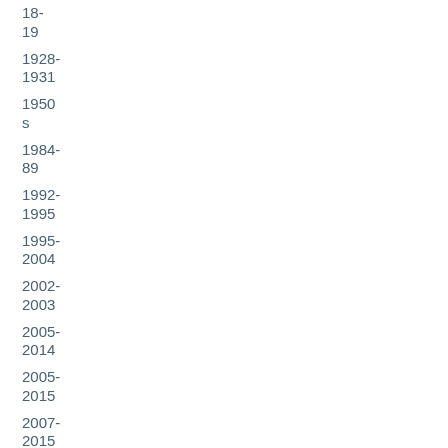18-19
1928-1931
1950s
1984-89
1992-1995
1995-2004
2002-2003
2005-2014
2005-2015
2007-2015
2011-2017
2012-